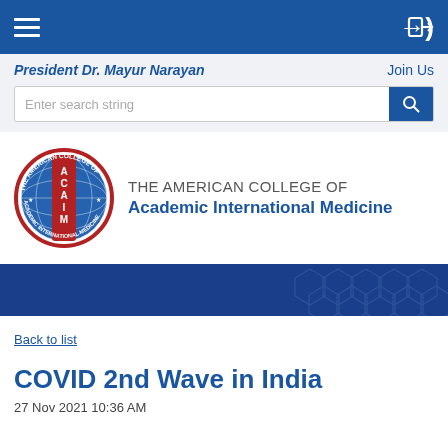President Dr. Mayur Narayan | Join Us
[Figure (logo): ACAIM circular logo with globe and red vertical bar, text THE AMERICAN COLLEGE OF Academic International Medicine]
[Figure (photo): Dark blue banner with hexagonal pattern on the right side]
Back to list
COVID 2nd Wave in India
27 Nov 2021 10:36 AM